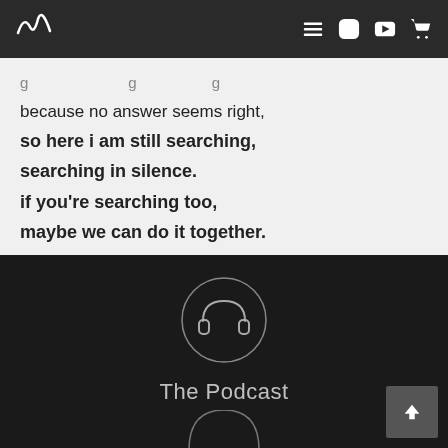Navigation bar with logo, menu, Instagram, YouTube, and cart icons
because no answer seems right,
so here i am still searching, searching in silence. if you're searching too, maybe we can do it together.
[Figure (illustration): Circular icon with headphones inside, thin outline on dark background, labeled 'The Podcast']
The Podcast